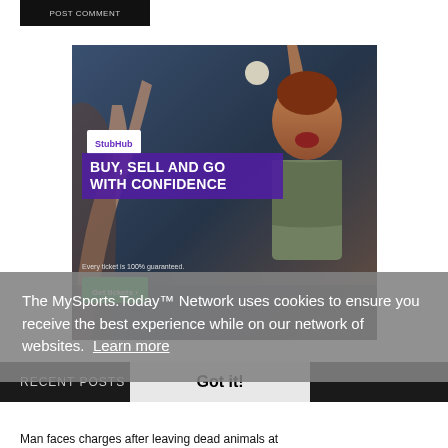[Figure (screenshot): POST COMMENT button, dark/black background with grey text]
[Figure (photo): StubHub advertisement banner showing a person at a concert with raised hands, overlay text: BUY, SELL AND GO WITH CONFIDENCE, Every ticket is 100% guaranteed, Get tickets button]
The MySports.Today™ Network uses cookies to ensure you receive the best experience while on our network of websites. Learn more
RECENT POSTS
Got it!
Man faces charges after leaving dead animals at